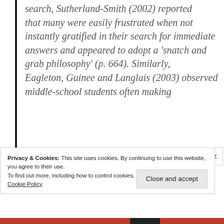search, Sutherland-Smith (2002) reported that many were easily frustrated when not instantly gratified in their search for immediate answers and appeared to adopt a ‘snatch and grab philosophy’ (p. 664). Similarly, Eagleton, Guinee and Langlais (2003) observed middle-school students often making
Privacy & Cookies: This site uses cookies. By continuing to use this website, you agree to their use.
To find out more, including how to control cookies, see here:
Cookie Policy
Close and accept